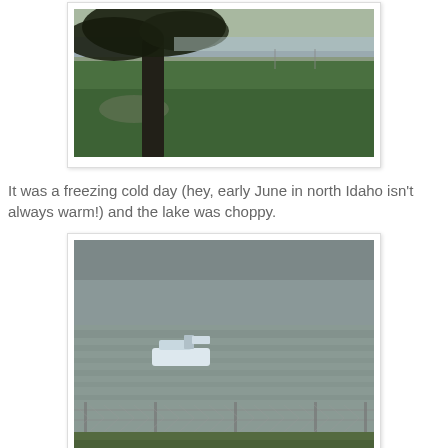[Figure (photo): Outdoor scene with a large tree in the foreground, green grass lawn, and a lake visible in the background under an overcast sky.]
It was a freezing cold day (hey, early June in north Idaho isn't always warm!) and the lake was choppy.
[Figure (photo): Choppy lake scene with a boat on the water, overcast grey sky, chain-link fence in the foreground, and green grass at the bottom.]